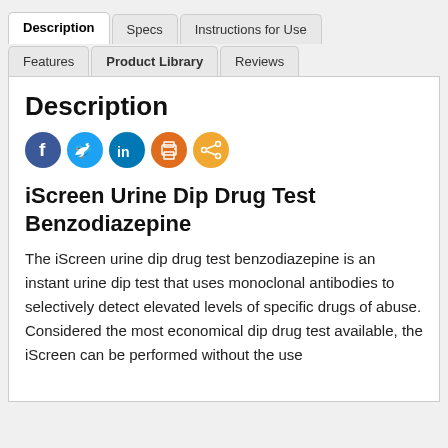Description | Specs | Instructions for Use | Features | Product Library | Reviews
Description
[Figure (other): Social sharing icons: Facebook, Twitter, LinkedIn, Print, Share]
iScreen Urine Dip Drug Test Benzodiazepine
The iScreen urine dip drug test benzodiazepine is an instant urine dip test that uses monoclonal antibodies to selectively detect elevated levels of specific drugs of abuse. Considered the most economical dip drug test available, the iScreen can be performed without the use